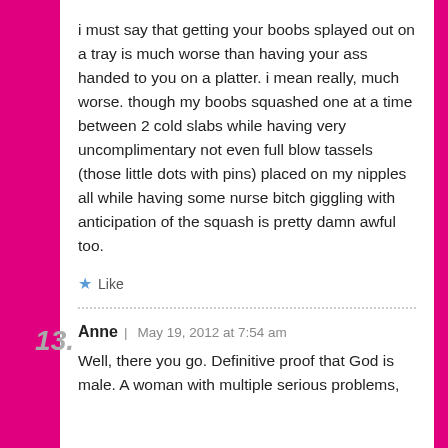i must say that getting your boobs splayed out on a tray is much worse than having your ass handed to you on a platter. i mean really, much worse. though my boobs squashed one at a time between 2 cold slabs while having very uncomplimentary not even full blow tassels (those little dots with pins) placed on my nipples all while having some nurse bitch giggling with anticipation of the squash is pretty damn awful too.
★ Like
13. Anne | May 19, 2012 at 7:54 am
Well, there you go. Definitive proof that God is male. A woman with multiple serious problems,